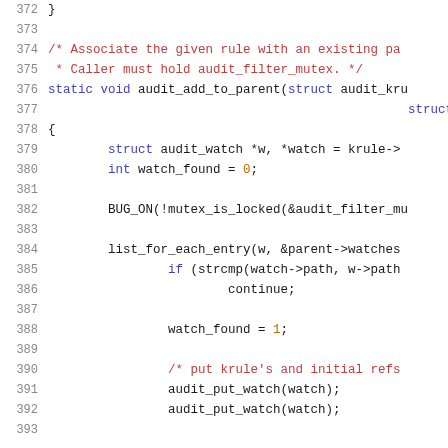372  }
373
374  /* Associate the given rule with an existing pa
375   * Caller must hold audit_filter_mutex. */
376  static void audit_add_to_parent(struct audit_kru
377                                          struct audit_pa
378  {
379          struct audit_watch *w, *watch = krule->
380          int watch_found = 0;
381
382          BUG_ON(!mutex_is_locked(&audit_filter_mu
383
384          list_for_each_entry(w, &parent->watches
385                  if (strcmp(watch->path, w->path
386                          continue;
387
388                  watch_found = 1;
389
390                  /* put krule's and initial refs
391                  audit_put_watch(watch);
392                  audit_put_watch(watch);
393